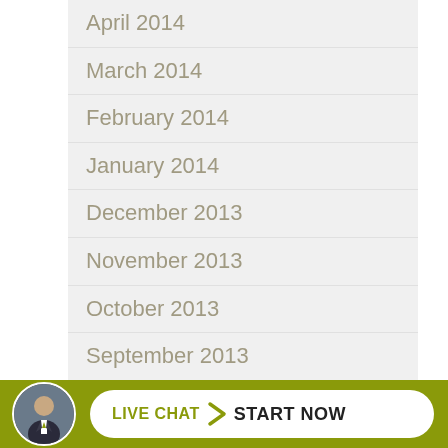April 2014
March 2014
February 2014
January 2014
December 2013
November 2013
October 2013
September 2013
August 2013
July 2013
June 2013
May 2013
April 2013
Ma…3
[Figure (infographic): Live chat banner with circular avatar photo of a man in a suit and a white rounded button reading 'LIVE CHAT > START NOW' on an olive/lime green background]